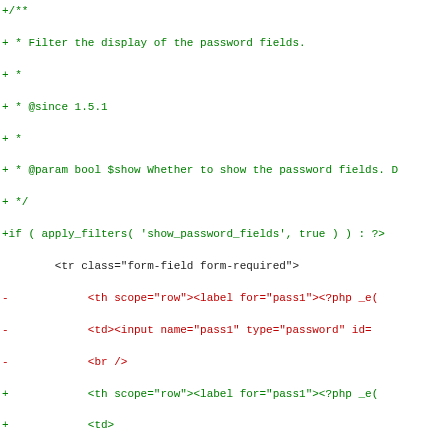Code diff showing password field filter function and HTML form modifications